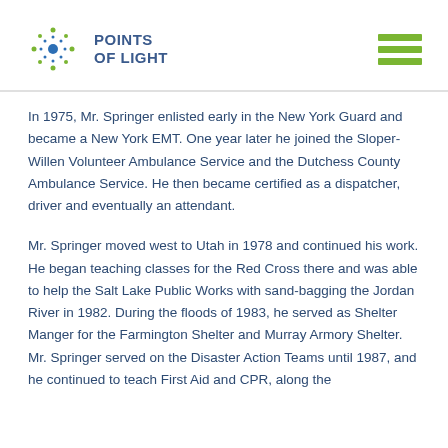Points of Light
In 1975, Mr. Springer enlisted early in the New York Guard and became a New York EMT. One year later he joined the Sloper-Willen Volunteer Ambulance Service and the Dutchess County Ambulance Service. He then became certified as a dispatcher, driver and eventually an attendant.
Mr. Springer moved west to Utah in 1978 and continued his work. He began teaching classes for the Red Cross there and was able to help the Salt Lake Public Works with sand-bagging the Jordan River in 1982. During the floods of 1983, he served as Shelter Manger for the Farmington Shelter and Murray Armory Shelter. Mr. Springer served on the Disaster Action Teams until 1987, and he continued to teach First Aid and CPR, along the...